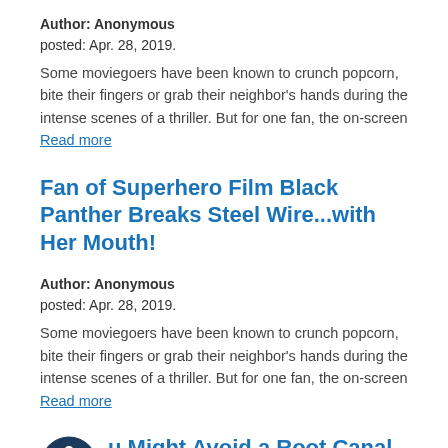Author: Anonymous
posted: Apr. 28, 2019.
Some moviegoers have been known to crunch popcorn, bite their fingers or grab their neighbor's hands during the intense scenes of a thriller. But for one fan, the on-screen Read more
Fan of Superhero Film Black Panther Breaks Steel Wire...with Her Mouth!
Author: Anonymous
posted: Apr. 28, 2019.
Some moviegoers have been known to crunch popcorn, bite their fingers or grab their neighbor's hands during the intense scenes of a thriller. But for one fan, the on-screen Read more
u Might Avoid a Root Canal with This Tooth-Saving Procedure